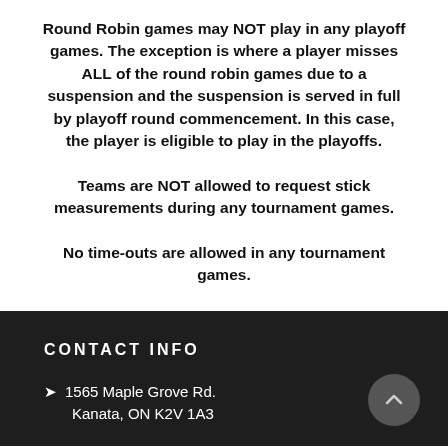Round Robin games may NOT play in any playoff games. The exception is where a player misses ALL of the round robin games due to a suspension and the suspension is served in full by playoff round commencement. In this case, the player is eligible to play in the playoffs.
Teams are NOT allowed to request stick measurements during any tournament games.
No time-outs are allowed in any tournament games.
CONTACT INFO
1565 Maple Grove Rd.
Kanata, ON K2V 1A3